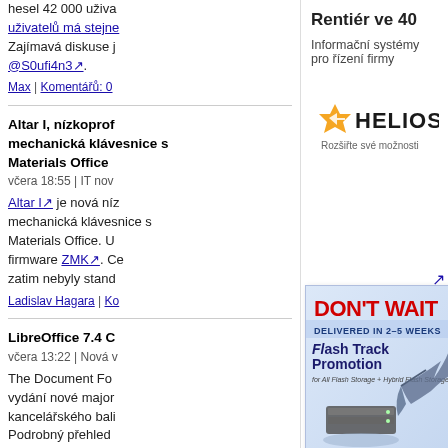hesel 42 000 uživa... uživatelů má stejne... Zajímavá diskuse j... @S0ufi4n3↗.
Max | Komentářů: 0
Altar I, nízkoprof... mechanická klávesnice s Materials Office
včera 18:55 | IT nov
Altar I↗ je nová níz... mechanická klávesnice... Materials Office. U... firmware ZMK↗. Ce... zatim nebyly stand...
Ladislav Hagara | Ko
LibreOffice 7.4 C
včera 13:22 | Nová v
The Document Fo... vydání nové major... kancelářského bal... Podrobný přehled... náhledy v poznám... nebo také na Yout...
Rentiér ve 40
Informační systémy pro řízení firmy
[Figure (logo): Helios logo with orange star/arrow icon and text 'HELIOS Rozšiřte své možnosti']
[Figure (infographic): Don't Wait ad - 'DELIVERED IN 2-5 WEEKS Flash Track Promotion for All Flash Storage + Hybrid Flash Storage' with storage hardware and marlin fish graphic]